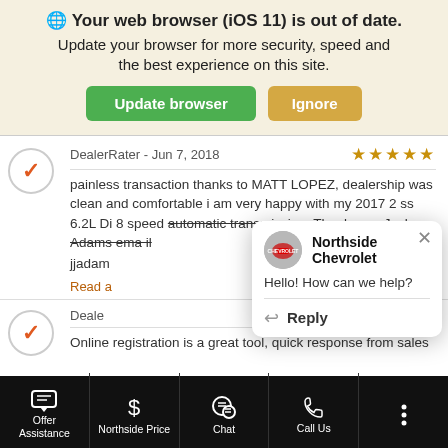Your web browser (iOS 11) is out of date. Update your browser for more security, speed and the best experience on this site.
Update browser | Ignore
DealerRater - Jun 7, 2018 ★★★★★
painless transaction thanks to MATT LOPEZ, dealership was clean and comfortable i am very happy with my 2017 2 ss 6.2L Di 8 speed automatic transmission. Thank you. Jack Adams email jjadam
Read a
[Figure (screenshot): Chat popup from Northside Chevrolet with logo, text 'Hello! How can we help?' and a Reply button]
Deale
Online registration is a great tool, quick response from sales
Offer Assistance | Northside Price | Chat | Call Us